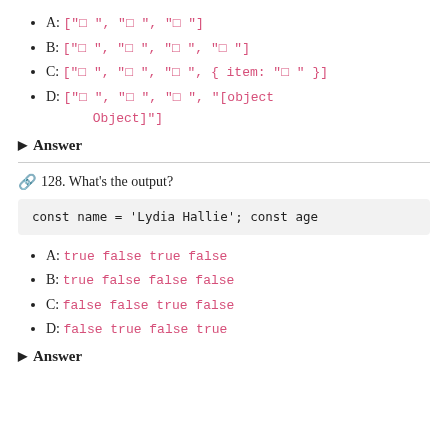A: ["□", "□", "□"]
B: ["□", "□", "□", "□"]
C: ["□", "□", "□", { item: "□" }]
D: ["□", "□", "□", "[object Object]"]
▶ Answer
🔗128. What's the output?
const name = 'Lydia Hallie'; const age
A: true false true false
B: true false false false
C: false false true false
D: false true false true
▶ Answer